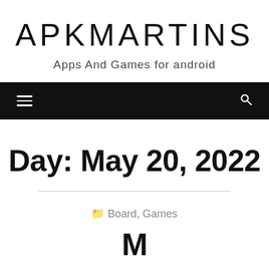APKMARTINS
Apps And Games for android
Navigation bar with hamburger menu and search icon
Day: May 20, 2022
Board, Games
M... (MOD